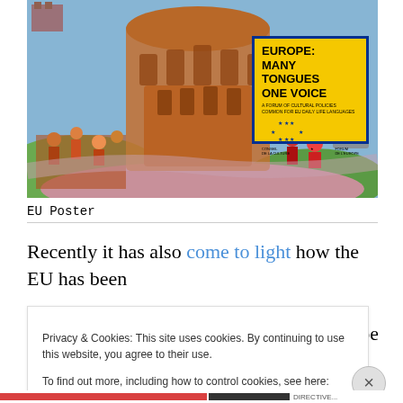[Figure (illustration): A colorful illustrated painting of the Tower of Babel scene with groups of people in orange/red tones. Overlaid in the top-right area is a yellow and blue bordered book/poster titled 'EUROPE: MANY TONGUES ONE VOICE' with EU stars and Council of Europe branding.]
EU Poster
Recently it has also come to light how the EU has been planning for a long time to force EU member states to
Privacy & Cookies: This site uses cookies. By continuing to use this website, you agree to their use.
To find out more, including how to control cookies, see here: Cookie Policy